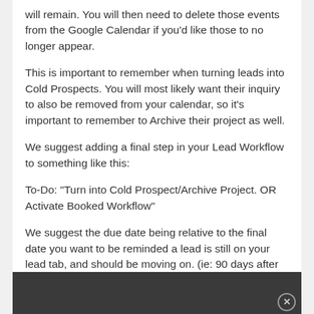will remain. You will then need to delete those events from the Google Calendar if you'd like those to no longer appear.
This is important to remember when turning leads into Cold Prospects. You will most likely want their inquiry to also be removed from your calendar, so it's important to remember to Archive their project as well.
We suggest adding a final step in your Lead Workflow to something like this:
To-Do: "Turn into Cold Prospect/Archive Project. OR Activate Booked Workflow"
We suggest the due date being relative to the final date you want to be reminded a lead is still on your lead tab, and should be moving on. (ie: 90 days after activating this workflow).
[Figure (screenshot): Dark gray video/media bar at the bottom of the page with a close button (X) in the bottom right corner.]